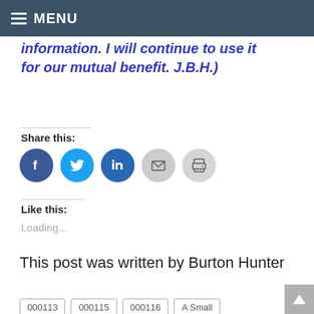MENU
information. I will continue to use it for our mutual benefit. J.B.H.)
Share this:
[Figure (infographic): Social share icons: Facebook (blue circle), Twitter (blue circle), LinkedIn (dark blue circle), Email (grey circle), Print (grey circle)]
Like this:
Loading...
This post was written by Burton Hunter
000113
000115
000116
A Small
Town Lawyer's Perspective
Perspectives